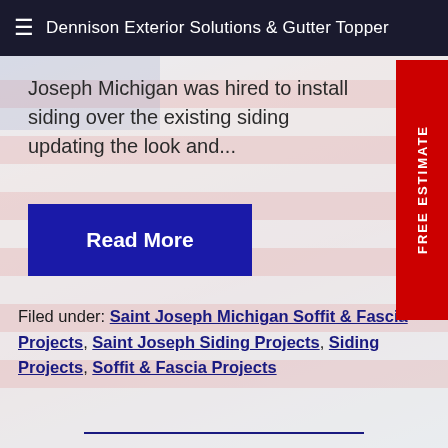≡ Dennison Exterior Solutions & Gutter Topper
Joseph Michigan was hired to install siding over the existing siding updating the look and...
Read More
FREE ESTIMATE
Filed under: Saint Joseph Michigan Soffit & Fascia Projects, Saint Joseph Siding Projects, Siding Projects, Soffit & Fascia Projects